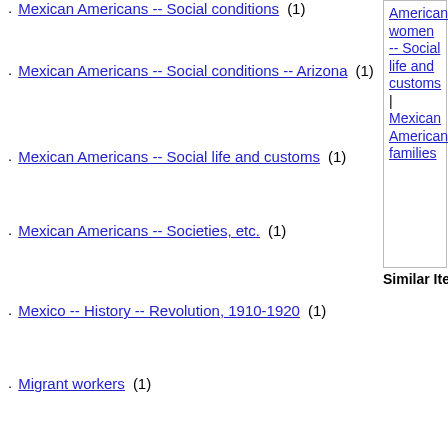Mexican Americans -- Social conditions (1)
Mexican Americans -- Social conditions -- Arizona (1)
Mexican Americans -- Social life and customs (1)
Mexican Americans -- Societies, etc. (1)
Mexico -- History -- Revolution, 1910-1920 (1)
Migrant workers (1)
Military service, Voluntary (1)
Mines and mineral resources -- Arizona (1)
American women -- Social life and customs | Mexican American families
Similar Items: Find Similar Guides